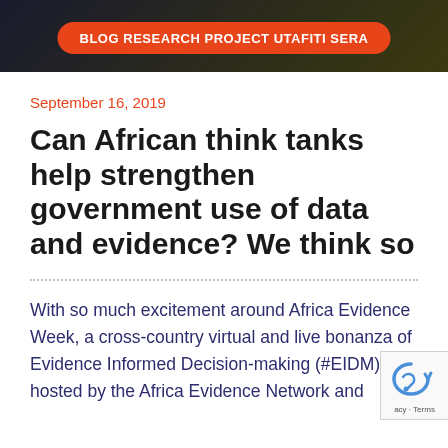BLOG RESEARCH PROJECT UTAFITI SERA
September 16, 2019
Can African think tanks help strengthen government use of data and evidence? We think so
With so much excitement around Africa Evidence Week, a cross-country virtual and live bonanza of Evidence Informed Decision-making (#EIDM) hosted by the Africa Evidence Network and